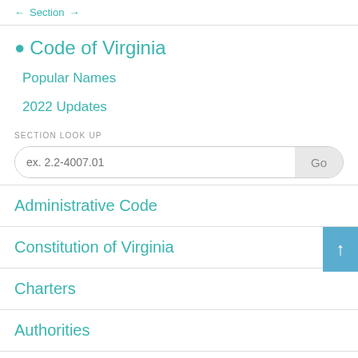← Section →
• Code of Virginia
Popular Names
2022 Updates
SECTION LOOK UP
ex. 2.2-4007.01  Go
Administrative Code
Constitution of Virginia
Charters
Authorities
Compacts